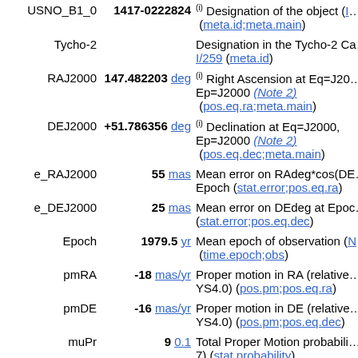| Name | Value | Description |
| --- | --- | --- |
| USNO_B1_0 | 1417-0222824 | (i) Designation of the object (meta.id;meta.main) |
| Tycho-2 |  | Designation in the Tycho-2 Catalogue I/259 (meta.id) |
| RAJ2000 | 147.482203 deg | (i) Right Ascension at Eq=J2000, Ep=J2000 (Note 2) (pos.eq.ra;meta.main) |
| DEJ2000 | +51.786356 deg | (i) Declination at Eq=J2000, Ep=J2000 (Note 2) (pos.eq.dec;meta.main) |
| e_RAJ2000 | 55 mas | Mean error on RAdeg*cos(DE) at Epoch (stat.error;pos.eq.ra) |
| e_DEJ2000 | 25 mas | Mean error on DEdeg at Epoch (stat.error;pos.eq.dec) |
| Epoch | 1979.5 yr | Mean epoch of observation (Note) (time.epoch;obs) |
| pmRA | -18 mas/yr | Proper motion in RA (relative to YS4.0) (pos.pm;pos.eq.ra) |
| pmDE | -16 mas/yr | Proper motion in DE (relative to YS4.0) (pos.pm;pos.eq.dec) |
| muPr | 9 0.1 | Total Proper Motion probability (Note 7) (stat.probability) |